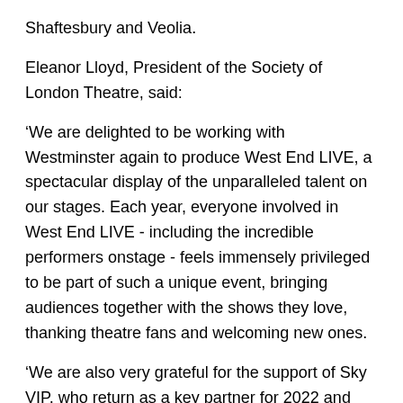Shaftesbury and Veolia.
Eleanor Lloyd, President of the Society of London Theatre, said:
‘We are delighted to be working with Westminster again to produce West End LIVE, a spectacular display of the unparalleled talent on our stages. Each year, everyone involved in West End LIVE - including the incredible performers onstage - feels immensely privileged to be part of such a unique event, bringing audiences together with the shows they love, thanking theatre fans and welcoming new ones.
‘We are also very grateful for the support of Sky VIP, who return as a key partner for 2022 and have a long history as the most valued partner and the most important part of